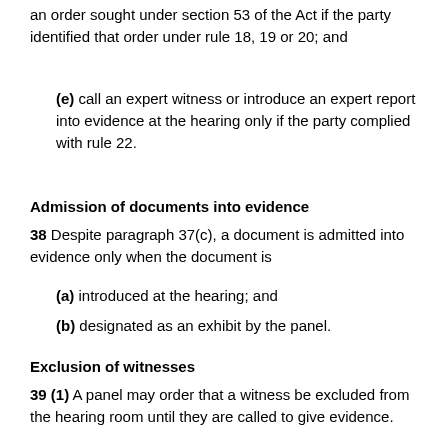an order sought under section 53 of the Act if the party identified that order under rule 18, 19 or 20; and
(e) call an expert witness or introduce an expert report into evidence at the hearing only if the party complied with rule 22.
Admission of documents into evidence
38 Despite paragraph 37(c), a document is admitted into evidence only when the document is
(a) introduced at the hearing; and
(b) designated as an exhibit by the panel.
Exclusion of witnesses
39 (1) A panel may order that a witness be excluded from the hearing room until they are called to give evidence.